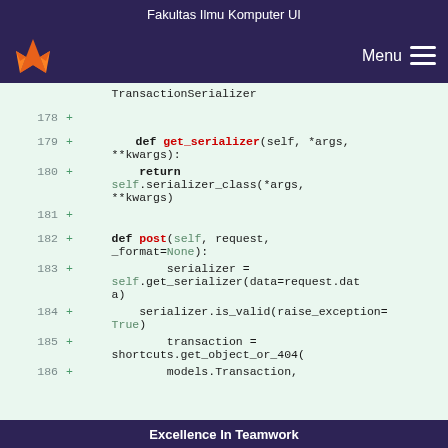Fakultas Ilmu Komputer UI
[Figure (logo): GitLab fox logo in orange and red on dark purple navigation bar with Menu hamburger icon]
TransactionSerializer
178 +
179 +     def get_serializer(self, *args, **kwargs):
180 +         return self.serializer_class(*args, **kwargs)
181 +
182 +     def post(self, request, _format=None):
183 +             serializer = self.get_serializer(data=request.data)
184 +         serializer.is_valid(raise_exception=True)
185 +             transaction = shortcuts.get_object_or_404(
186 +             models.Transaction,
Excellence In Teamwork